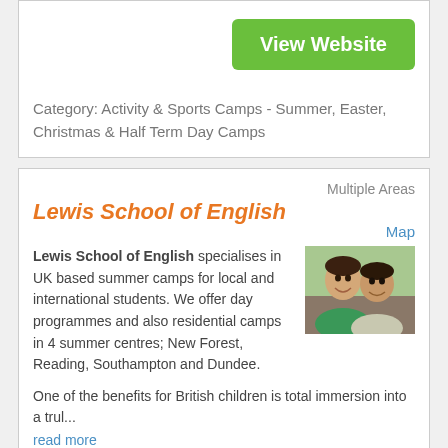View Website
Category: Activity & Sports Camps - Summer, Easter, Christmas & Half Term Day Camps
Multiple Areas
Lewis School of English
Map
Lewis School of English specialises in UK based summer camps for local and international students. We offer day programmes and also residential camps in 4 summer centres; New Forest, Reading, Southampton and Dundee.
[Figure (photo): Two smiling boys photographed together outdoors]
One of the benefits for British children is total immersion into a trul... read more
Address: 33 Palmerston Road, Southampton SO14 1LL
Tel: